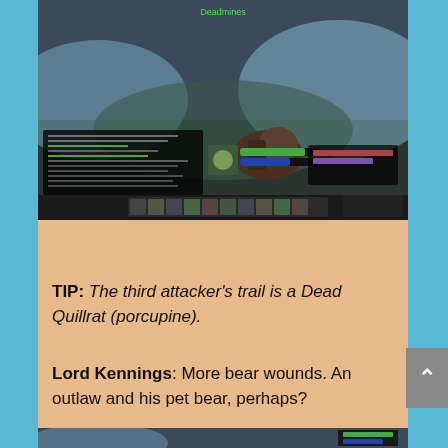[Figure (screenshot): World of Warcraft game screenshot showing a snowy landscape with a character fighting, chat log visible in lower left, UI elements at the bottom]
TIP: The third attacker's trail is a Dead Quillrat (porcupine).
Lord Kennings: More bear wounds. An outlaw and his pet bear, perhaps?
[Figure (screenshot): Partial World of Warcraft game screenshot at bottom of page]